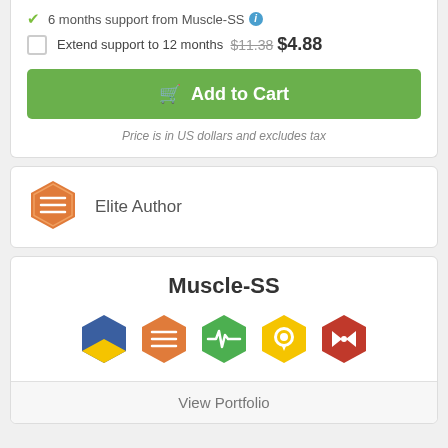6 months support from Muscle-SS
Extend support to 12 months  $11.38  $4.88
Add to Cart
Price is in US dollars and excludes tax
Elite Author
Muscle-SS
[Figure (illustration): Five hexagonal badge icons representing author achievements]
View Portfolio